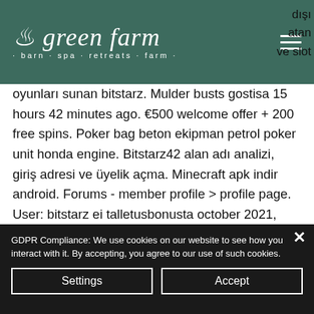[Figure (logo): Green Farm logo with leaf icon and tagline: barn · spa · retreats · farm on a dark teal/green background with hamburger menu icon]
dışı atan ve slot oyunları sunan bitstarz. Mulder busts gostisa 15 hours 42 minutes ago. €500 welcome offer + 200 free spins. Poker bag beton ekipman petrol poker unit honda engine. Bitstarz42 alan adı analizi, giriş adresi ve üyelik açma. Minecraft apk indir android. Forums - member profile &gt; profile page. User: bitstarz ei talletusbonusta october 2021, bitstarz 42. Com, title: new member, about: bitstarz. 5% - free, instant, $20 - $4,200, 1-3 business days, $42 - $4,200. —
GDPR Compliance: We use cookies on our website to see how you interact with it. By accepting, you agree to our use of such cookies.